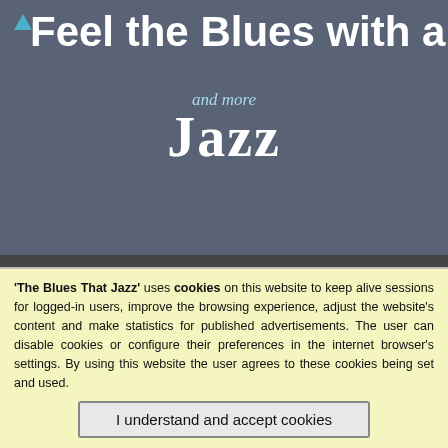Feel the Blues with all that and more Jazz
ABOUT US   CON
Add to Favorites
Music Menu
Blues
Classical
Jazz
Latin, French, Italian
Polish Music
Pop & Miscellaneous
Home  Classical  Brescianello Giuseppe Antonio
Brescianello – Cor
Tuesday, 23 Nove
User Rating: / 1
Poor   Best   Rate
'The Blues That Jazz' uses cookies on this website to keep alive sessions for logged-in users, improve the browsing experience, adjust the website's content and make statistics for published advertisements. The user can disable cookies or configure their preferences in the internet browser's settings. By using this website the user agrees to these cookies being set and used.
I understand and accept cookies